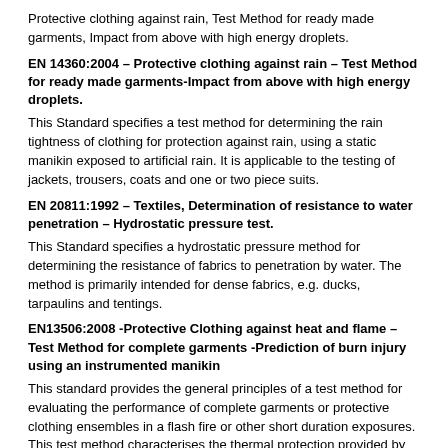Protective clothing against rain, Test Method for ready made garments, Impact from above with high energy droplets.
EN 14360:2004 – Protective clothing against rain – Test Method for ready made garments-Impact from above with high energy droplets.
This Standard specifies a test method for determining the rain tightness of clothing for protection against rain, using a static manikin exposed to artificial rain. It is applicable to the testing of jackets, trousers, coats and one or two piece suits.
EN 20811:1992 – Textiles, Determination of resistance to water penetration – Hydrostatic pressure test.
This Standard specifies a hydrostatic pressure method for determining the resistance of fabrics to penetration by water. The method is primarily intended for dense fabrics, e.g. ducks, tarpaulins and tentings.
EN13506:2008 -Protective Clothing against heat and flame – Test Method for complete garments -Prediction of burn injury using an instrumented manikin
This standard provides the general principles of a test method for evaluating the performance of complete garments or protective clothing ensembles in a flash fire or other short duration exposures. This test method characterises the thermal protection provided by garments, based on the measurement of heat transfer to a full-size manikin exposed to a laboratory simulation of a fire with controlled heat flux density duration and flame distribution. The heat transfer measurements can also be used to calculate the predicted skin burn injury resulting from the exposure.